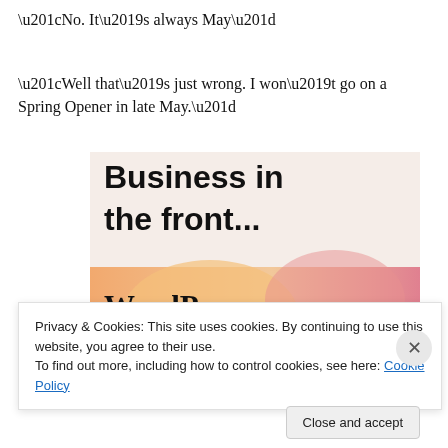“No. It’s always May”
“Well that’s just wrong. I won’t go on a Spring Opener in late May.”
[Figure (illustration): Advertisement image with text 'Business in the front... WordPress in the back.' on a pink/orange gradient background.]
Privacy & Cookies: This site uses cookies. By continuing to use this website, you agree to their use.
To find out more, including how to control cookies, see here: Cookie Policy
Close and accept